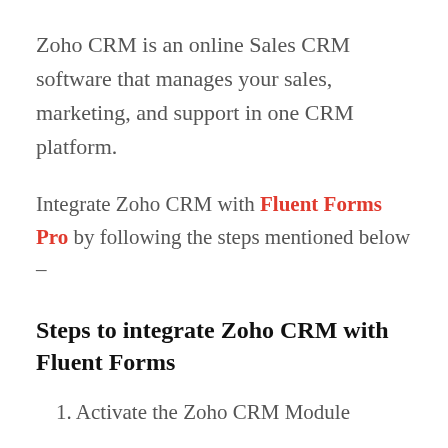Zoho CRM is an online Sales CRM software that manages your sales, marketing, and support in one CRM platform.
Integrate Zoho CRM with Fluent Forms Pro by following the steps mentioned below –
Steps to integrate Zoho CRM with Fluent Forms
1. Activate the Zoho CRM Module